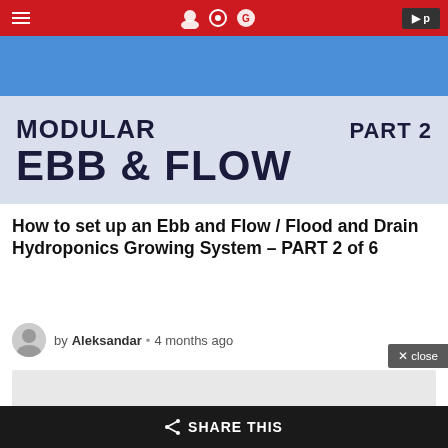Navigation bar with hamburger menu and icons
[Figure (photo): Hydroponics blue pots with small plants on top. Overlay text reads: MODULAR PART 2 / EBB & FLOW]
How to set up an Ebb and Flow / Flood and Drain Hydroponics Growing System – PART 2 of 6
by Aleksandar • 4 months ago
[Figure (other): Advertisement / content placeholder block]
< SHARE THIS